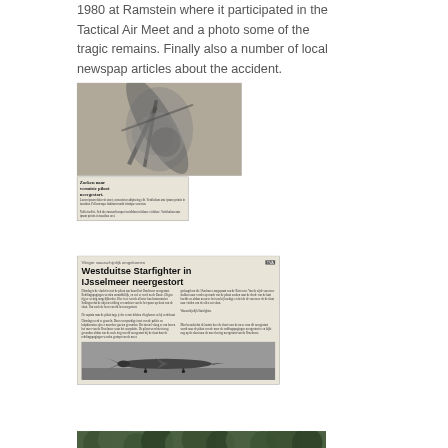1980 at Ramstein where it participated in the Tactical Air Meet and a photo some of the tragic remains. Finally also a number of local newspap articles about the accident.
[Figure (photo): Black and white photo of aircraft wreckage/crash site (top), followed by a newspaper clipping with small text (bottom), together as one image block.]
[Figure (photo): Newspaper clipping with headline 'Westduitse Starfighter in IJsselmeer neergestort', smaller subheading 'Vlieger waarschijnlijk omgekomen', body text in Dutch in two columns, and a black and white photo of a military jet (Starfighter) on the ground.]
[Figure (photo): A partial black and white photograph showing trees/forest, cut off at the bottom of the page.]